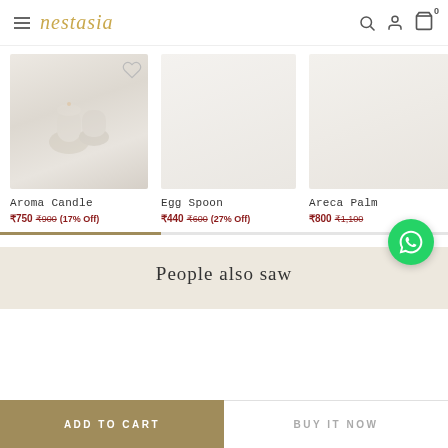nestasia
[Figure (photo): Product photo of Aroma Candle — candles in white marble holders with golden spoon and chopsticks on white background]
Aroma Candle
₹750  ₹900  (17% Off)
Egg Spoon
₹440  ₹600  (27% Off)
Areca Palm
₹800  ₹1,100
People also saw
ADD TO CART
BUY IT NOW